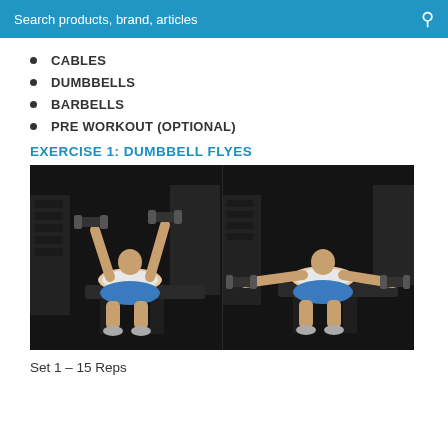Search products, brand, articles
CABLES
DUMBBELLS
BARBELLS
PRE WORKOUT (OPTIONAL)
EXERCISE 1: DUMBBELL FLYES
[Figure (photo): Two side-by-side photos of a man performing dumbbell flyes on a flat bench in a gym. Left photo shows arms raised above chest; right photo shows arms opened wide to the sides with dumbbells near the floor level.]
Set 1 – 15 Reps